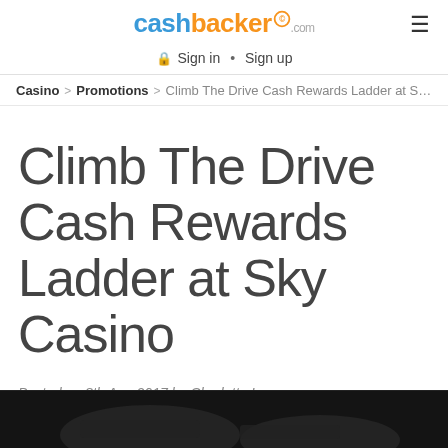cashbacker.com
Sign in • Sign up
Casino > Promotions > Climb The Drive Cash Rewards Ladder at Sky ...
Climb The Drive Cash Rewards Ladder at Sky Casino
Posted on 8th Aug 2017 by Charlotte Lennon
Tweet
[Figure (photo): Dark background image partially visible at the bottom of the page]